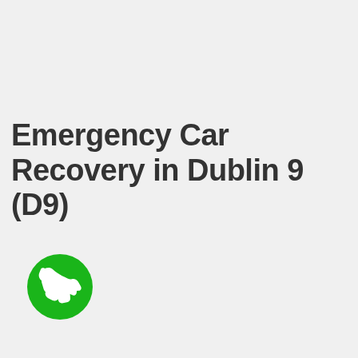Emergency Car Recovery in Dublin 9 (D9)
[Figure (illustration): Green circular phone call button with white telephone handset icon]